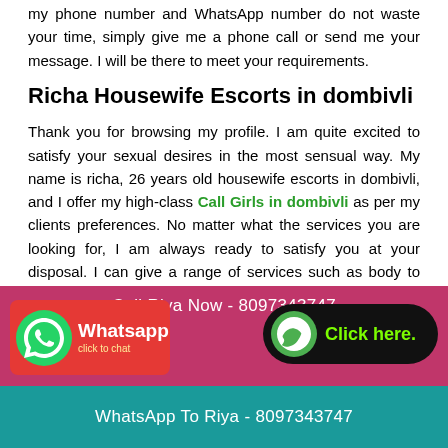my phone number and WhatsApp number do not waste your time, simply give me a phone call or send me your message. I will be there to meet your requirements.
Richa Housewife Escorts in dombivli
Thank you for browsing my profile. I am quite excited to satisfy your sexual desires in the most sensual way. My name is richa, 26 years old housewife escorts in dombivli, and I offer my high-class Call Girls in dombivli as per my clients preferences. No matter what the services you are looking for, I am always ready to satisfy you at your disposal. I can give a range of services such as body to body massage, deep throat oral sex, hand job, anal sex, and other sensual services. Besides, you will encounter an intense sexual session with me. My curvy and attractive body figure would allure you and entice your erotic requirements. Give me a call or send me your message on WhatsApp number I will respond you quickly. If you are looking for some erotic and
Call Riya Now - 8097343747
[Figure (infographic): WhatsApp button with phone icon on red background, labeled Whatsapp click to chat]
[Figure (infographic): Green phone icon with Click here label on black rounded button]
WhatsApp To Riya - 8097343747